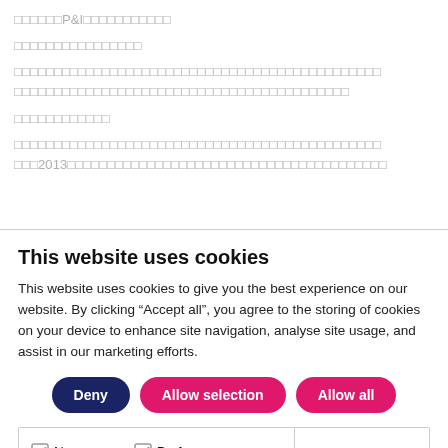[blurred Japanese/CJK text content with P&I reference]
[blurred Japanese/CJK text content]
[blurred Japanese/CJK text content - two lines]
[blurred Japanese/CJK text content]
[blurred Japanese/CJK text content with 2013 reference - two lines]
This website uses cookies
This website uses cookies to give you the best experience on our website. By clicking “Accept all”, you agree to the storing of cookies on your device to enhance site navigation, analyse site usage, and assist in our marketing efforts.
Deny | Allow selection | Allow all
Necessary  Preferences  Statistics  Marketing  Show details